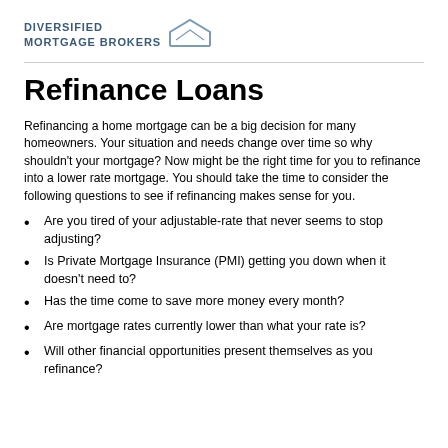[Figure (logo): Diversified Mortgage Brokers logo with house/roof graphic and stylized text]
Refinance Loans
Refinancing a home mortgage can be a big decision for many homeowners. Your situation and needs change over time so why shouldn't your mortgage? Now might be the right time for you to refinance into a lower rate mortgage. You should take the time to consider the following questions to see if refinancing makes sense for you.
Are you tired of your adjustable-rate that never seems to stop adjusting?
Is Private Mortgage Insurance (PMI) getting you down when it doesn't need to?
Has the time come to save more money every month?
Are mortgage rates currently lower than what your rate is?
Will other financial opportunities present themselves as you refinance?